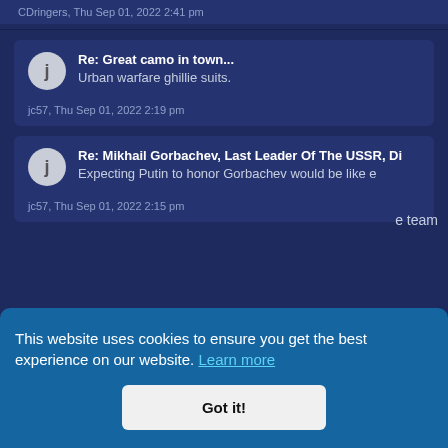CDringers, Thu Sep 01, 2022 2:41 pm
Re: Great camo in town... Urban warfare ghillie suits. jc57, Thu Sep 01, 2022 2:19 pm
Re: Mikhail Gorbachev, Last Leader Of The USSR, Di Expecting Putin to honor Gorbachev would be like e jc57, Thu Sep 01, 2022 2:15 pm
e team
This website uses cookies to ensure you get the best experience on our website. Learn more
Got it!